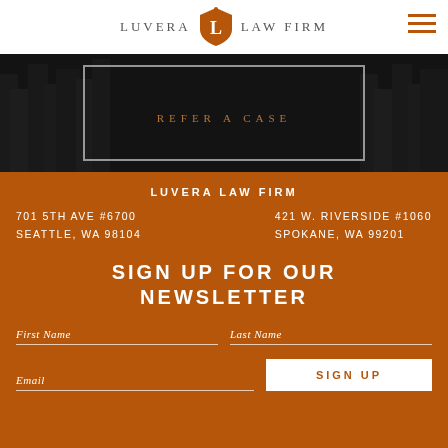LUVERA LAW FIRM
[Figure (screenshot): Dark city skyline hero image with a centered bordered box containing the text 'REFER A CASE' in orange uppercase letters]
LUVERA LAW FIRM
701 5TH AVE #6700   421 W. RIVERSIDE #1060
SEATTLE, WA 98104   SPOKANE, WA 99201
SIGN UP FOR OUR NEWSLETTER
First Name
Last Name
Email
SIGN UP